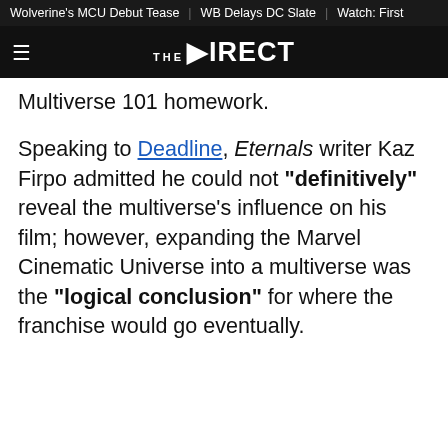Wolverine's MCU Debut Tease | WB Delays DC Slate | Watch: First
THE DIRECT
Multiverse 101 homework.
Speaking to Deadline, Eternals writer Kaz Firpo admitted he could not "definitively" reveal the multiverse's influence on his film; however, expanding the Marvel Cinematic Universe into a multiverse was the "logical conclusion" for where the franchise would go eventually.